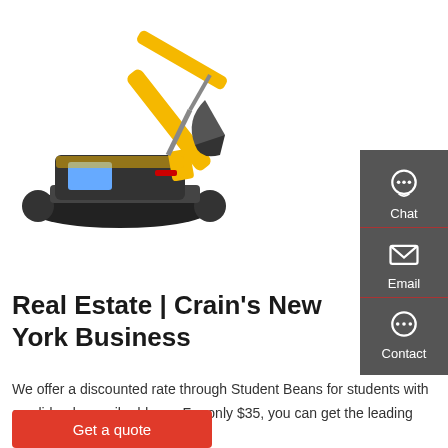[Figure (photo): Yellow construction excavator on white background]
[Figure (infographic): Dark grey sidebar with Chat, Email, and Contact icons and labels]
Real Estate | Crain's New York Business
We offer a discounted rate through Student Beans for students with a valid .edu email address. For only $35, you can get the leading source of business …
Get a quote